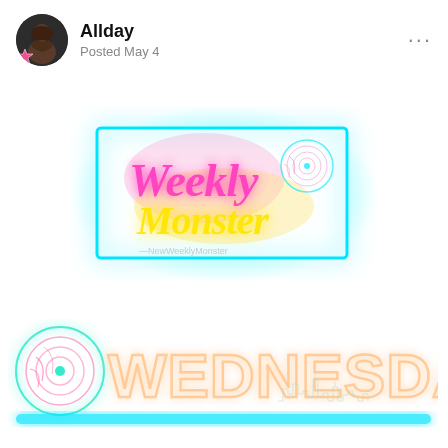[Figure (screenshot): Social media post header with avatar photo, username 'Allday', posted date 'Posted May 4', and three-dot menu icon]
[Figure (illustration): Neon glowing logo graphic: 'Weekly Monster' text in pink and yellow neon script with cyan border rectangle and vinyl record icon, glowing cyan background halo]
[Figure (illustration): Neon glowing 'WEDNESDAY' text in peach/orange hollow letters with vinyl record icon on left and city skyline silhouette, cyan neon underline bar]